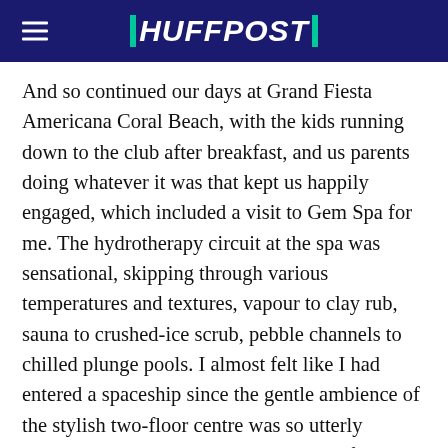HUFFPOST
And so continued our days at Grand Fiesta Americana Coral Beach, with the kids running down to the club after breakfast, and us parents doing whatever it was that kept us happily engaged, which included a visit to Gem Spa for me. The hydrotherapy circuit at the spa was sensational, skipping through various temperatures and textures, vapour to clay rub, sauna to crushed-ice scrub, pebble channels to chilled plunge pools. I almost felt like I had entered a spaceship since the gentle ambience of the stylish two-floor centre was so utterly relaxing, giving me a sense that I had left our planet; or skipped a century into the future (via the spaceship, of course!). Note: I am talking as a mother of three young children who is not used to having time for